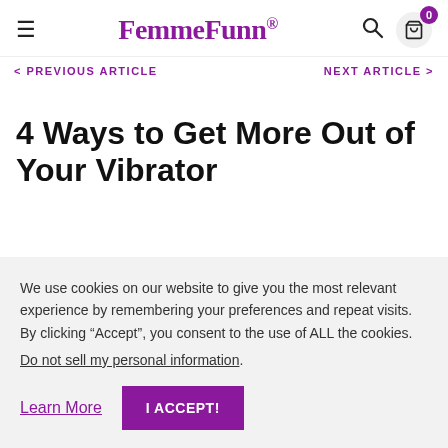FemmeFunn
PREVIOUS ARTICLE   NEXT ARTICLE
4 Ways to Get More Out of Your Vibrator
We use cookies on our website to give you the most relevant experience by remembering your preferences and repeat visits. By clicking “Accept”, you consent to the use of ALL the cookies. Do not sell my personal information.
Learn More   I ACCEPT!